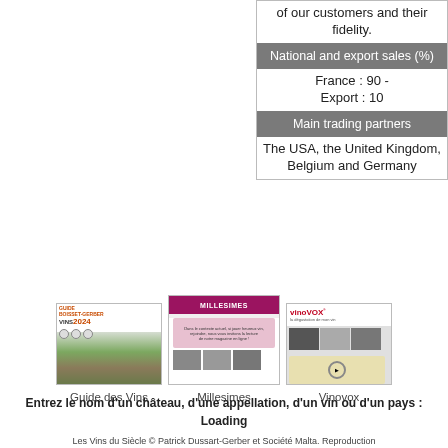| of our customers and their fidelity. |
| National and export sales (%) |
| France : 90 - Export : 10 |
| Main trading partners |
| The USA, the United Kingdom, Belgium and Germany |
[Figure (screenshot): Screenshot of Guide des Vins website with wine guide imagery]
Guide des Vins
[Figure (screenshot): Screenshot of Millesimes magazine website with pink/burgundy header]
Millesimes
[Figure (screenshot): Screenshot of Vinovox wine tasting website with logo and video thumbnails]
Vinovox
Entrez le nom d'un château, d'une appellation, d'un vin ou d'un pays : Loading
Les Vins du Siècle © Patrick Dussart-Gerber et Société Malta. Reproduction